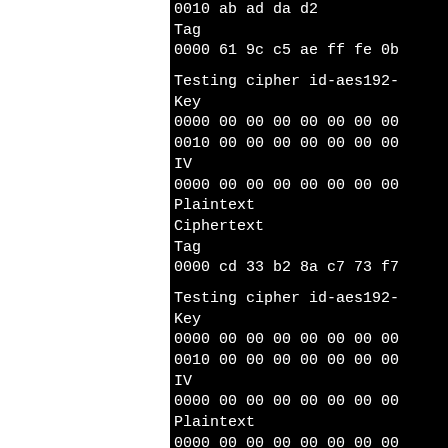0010 ab ad da d2
Tag
0000 61 9c c5 ae ff fe 0b

Testing cipher id-aes192-
Key
0000 00 00 00 00 00 00 00
0010 00 00 00 00 00 00 00
IV
0000 00 00 00 00 00 00 00
Plaintext
Ciphertext
Tag
0000 cd 33 b2 8a c7 73 f7

Testing cipher id-aes192-
Key
0000 00 00 00 00 00 00 00
0010 00 00 00 00 00 00 00
IV
0000 00 00 00 00 00 00 00
Plaintext
0000 00 00 00 00 00 00 00
Ciphertext